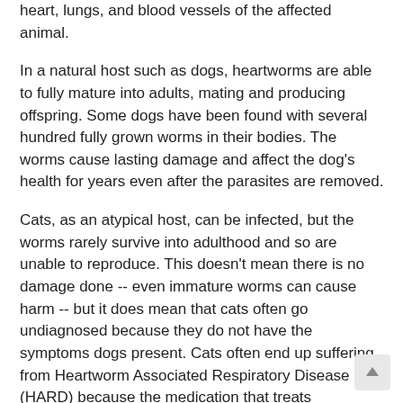heart, lungs, and blood vessels of the affected animal.
In a natural host such as dogs, heartworms are able to fully mature into adults, mating and producing offspring. Some dogs have been found with several hundred fully grown worms in their bodies. The worms cause lasting damage and affect the dog's health for years even after the parasites are removed.
Cats, as an atypical host, can be infected, but the worms rarely survive into adulthood and so are unable to reproduce. This doesn't mean there is no damage done -- even immature worms can cause harm -- but it does mean that cats often go undiagnosed because they do not have the symptoms dogs present. Cats often end up suffering from Heartworm Associated Respiratory Disease (HARD) because the medication that treats heartworm in dogs cannot be used in cats.
How are pets infected?